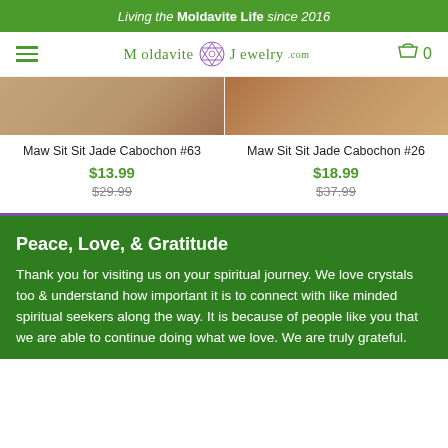Living the Moldavite Life since 2016
[Figure (logo): MoldaviteJewelry.com logo with hamburger menu icon on left and cart icon with 0 on right]
Maw Sit Sit Jade Cabochon #63
$13.99
$29.99
Maw Sit Sit Jade Cabochon #26
$18.99
$37.99
Peace, Love, & Gratitude
Thank you for visiting us on your spiritual journey. We love crystals too & understand how important it is to connect with like minded spiritual seekers along the way. It is because of people like you that we are able to continue doing what we love. We are truly grateful.